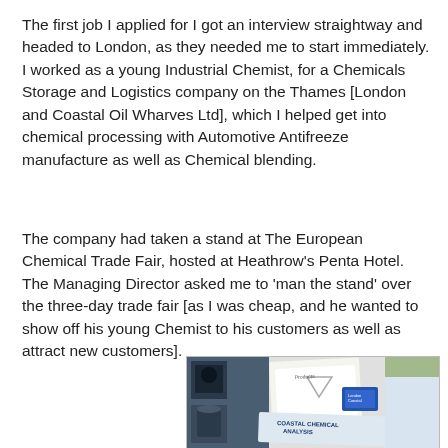The first job I applied for I got an interview straightway and headed to London, as they needed me to start immediately. I worked as a young Industrial Chemist, for a Chemicals Storage and Logistics company on the Thames [London and Coastal Oil Wharves Ltd], which I helped get into chemical processing with Automotive Antifreeze manufacture as well as Chemical blending.
The company had taken a stand at The European Chemical Trade Fair, hosted at Heathrow’s Penta Hotel. The Managing Director asked me to ‘man the stand’ over the three-day trade fair [as I was cheap, and he wanted to show off his young Chemist to his customers as well as attract new customers].
[Figure (photo): Photo showing marketing brochures and documents for Coastal Chemical Analysis, featuring printed materials with images of industrial equipment and a company logo on a white/blue background.]